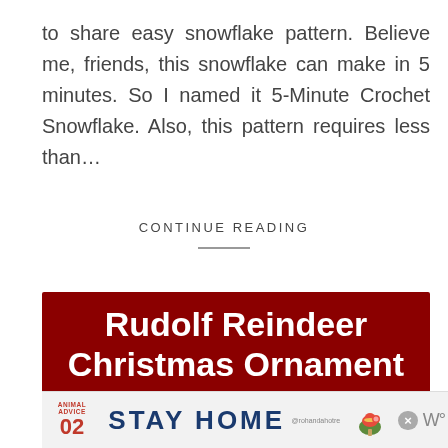to share easy snowflake pattern. Believe me, friends, this snowflake can make in 5 minutes. So I named it 5-Minute Crochet Snowflake. Also, this pattern requires less than…
CONTINUE READING
Rudolf Reindeer Christmas Ornament
[Figure (infographic): Advertisement banner with red background showing 'STAY HOME' text in dark blue, Animal Advice 02 label on left, mushroom illustration, and close buttons on right.]